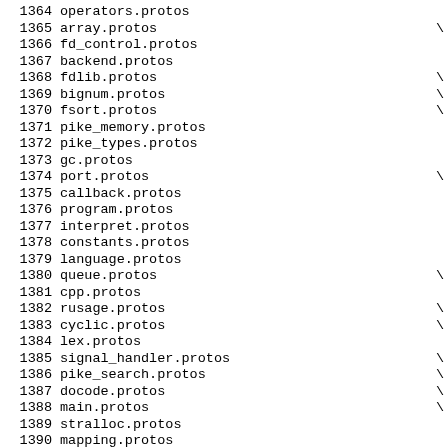1364 operators.protos
1365 array.protos
1366 fd_control.protos
1367 backend.protos
1368 fdlib.protos
1369 bignum.protos
1370 fsort.protos
1371 pike_memory.protos
1372 pike_types.protos
1373 gc.protos
1374 port.protos
1375 callback.protos
1376 program.protos
1377 interpret.protos
1378 constants.protos
1379 language.protos
1380 queue.protos
1381 cpp.protos
1382 rusage.protos
1383 cyclic.protos
1384 lex.protos
1385 signal_handler.protos
1386 pike_search.protos
1387 docode.protos
1388 main.protos
1389 stralloc.protos
1390 mapping.protos